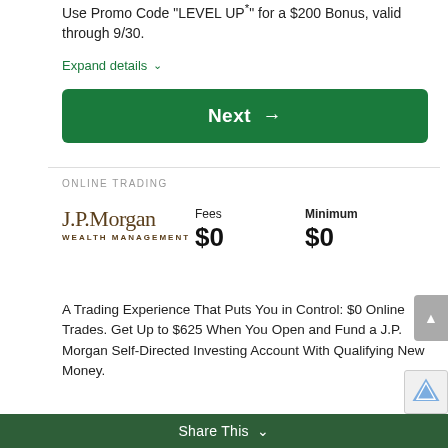Use Promo Code “LEVEL UP” for a $200 Bonus, valid through 9/30.
Expand details ∨
Next →
ONLINE TRADING
[Figure (logo): J.P.Morgan WEALTH MANAGEMENT logo in brown serif and uppercase sans-serif text]
| Fees | Minimum |
| --- | --- |
| $0 | $0 |
A Trading Experience That Puts You in Control: $0 Online Trades. Get Up to $625 When You Open and Fund a J.P. Morgan Self-Directed Investing Account With Qualifying New Money.
Expand details ∨
Share This ∨